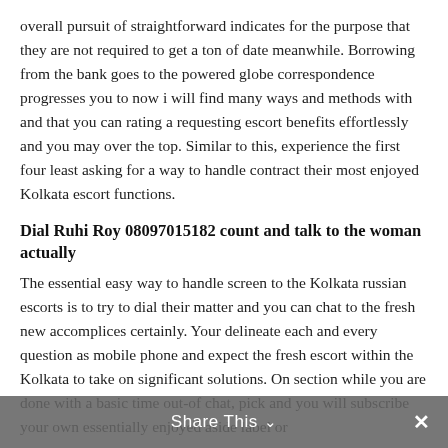overall pursuit of straightforward indicates for the purpose that they are not required to get a ton of date meanwhile. Borrowing from the bank goes to the powered globe correspondence progresses you to now i will find many ways and methods with and that you can rating a requesting escort benefits effortlessly and you may over the top. Similar to this, experience the first four least asking for a way to handle contract their most enjoyed Kolkata escort functions.
Dial Ruhi Roy 08097015182 count and talk to the woman actually
The essential easy way to handle screen to the Kolkata russian escorts is to try to dial their matter and you can chat to the fresh new accomplices certainly. Your delineate each and every question as mobile phone and expect the fresh escort within the Kolkata to take on significant solutions. On section while you are done with a basic time out-of chat, pick and you will subscribe your own essentially enjoyed aside label or
Share This ∨  ✕